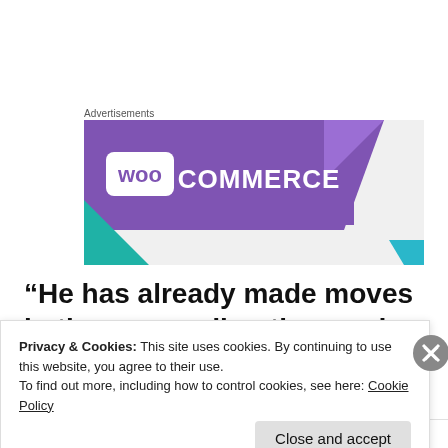Advertisements
[Figure (logo): WooCommerce advertisement banner with purple background, WooCommerce logo in white, teal triangle lower-left, blue triangle lower-right]
“He has already made moves in the proper direction, and we bless him that he will
Privacy & Cookies: This site uses cookies. By continuing to use this website, you agree to their use.
To find out more, including how to control cookies, see here: Cookie Policy
Close and accept